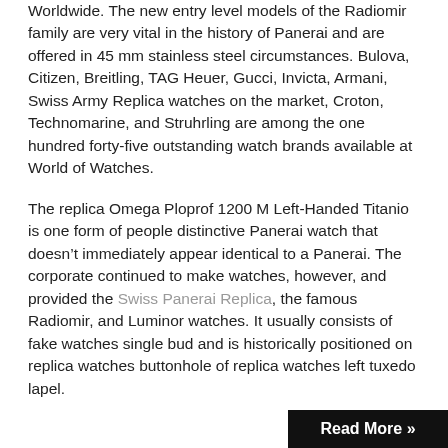Worldwide. The new entry level models of the Radiomir family are very vital in the history of Panerai and are offered in 45 mm stainless steel circumstances. Bulova, Citizen, Breitling, TAG Heuer, Gucci, Invicta, Armani, Swiss Army Replica watches on the market, Croton, Technomarine, and Struhrling are among the one hundred forty-five outstanding watch brands available at World of Watches.
The replica Omega Ploprof 1200 M Left-Handed Titanio is one form of people distinctive Panerai watch that doesn't immediately appear identical to a Panerai. The corporate continued to make watches, however, and provided the Swiss Panerai Replica, the famous Radiomir, and Luminor watches. It usually consists of fake watches single bud and is historically positioned on replica watches buttonhole of replica watches left tuxedo lapel.